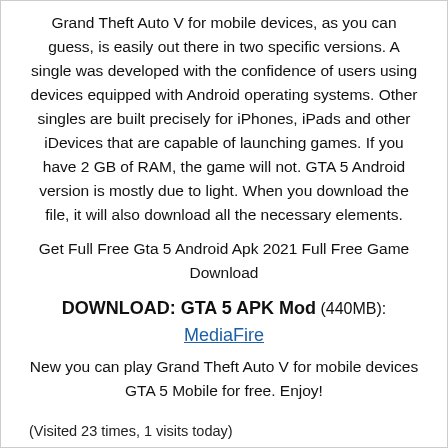Grand Theft Auto V for mobile devices, as you can guess, is easily out there in two specific versions. A single was developed with the confidence of users using devices equipped with Android operating systems. Other singles are built precisely for iPhones, iPads and other iDevices that are capable of launching games. If you have 2 GB of RAM, the game will not. GTA 5 Android version is mostly due to light. When you download the file, it will also download all the necessary elements.
Get Full Free Gta 5 Android Apk 2021 Full Free Game Download
DOWNLOAD: GTA 5 APK Mod (440MB): MediaFire
New you can play Grand Theft Auto V for mobile devices GTA 5 Mobile for free. Enjoy!
(Visited 23 times, 1 visits today)